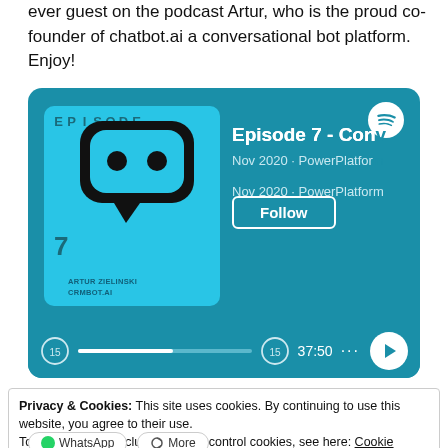ever guest on the podcast Artur, who is the proud co-founder of chatbot.ai a conversational bot platform. Enjoy!
[Figure (screenshot): Spotify podcast player card showing Episode 7 by Artur Zielinski of CRMBot.ai, titled 'Episode 7 - Con' (truncated), from Nov 2020 · PowerPlatform (truncated), with a Follow button and player showing 37:50 duration.]
Privacy & Cookies: This site uses cookies. By continuing to use this website, you agree to their use.
To find out more, including how to control cookies, see here: Cookie Policy
Close and accept
WhatsApp
More